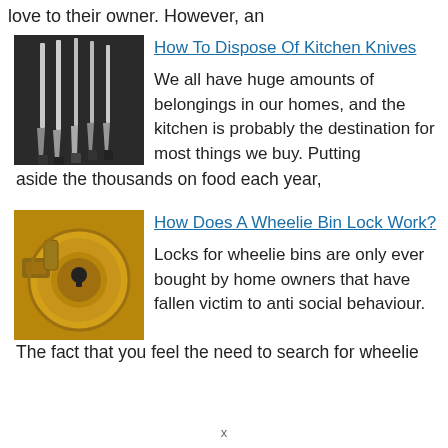love to their owner. However, an
[Figure (photo): Five kitchen knives arranged on a dark background]
How To Dispose Of Kitchen Knives
We all have huge amounts of belongings in our homes, and the kitchen is probably the destination for most things we buy. Putting aside the thousands on food each year,
[Figure (photo): Close-up of a golden brass padlock mechanism]
How Does A Wheelie Bin Lock Work?
Locks for wheelie bins are only ever bought by home owners that have fallen victim to anti social behaviour. The fact that you feel the need to search for wheelie